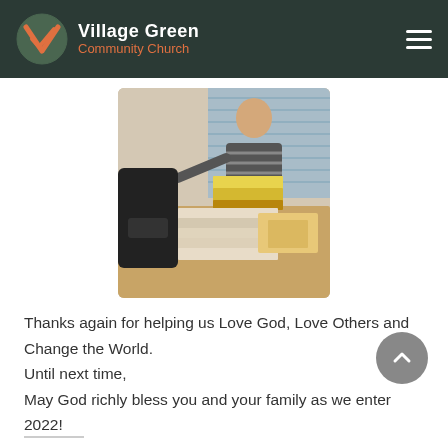Village Green Community Church
[Figure (photo): A man standing behind a desk piled with books and file folders in an office setting, smiling at the camera.]
Thanks again for helping us Love God, Love Others and Change the World.
Until next time,
May God richly bless you and your family as we enter 2022!

Jon Korkidakis